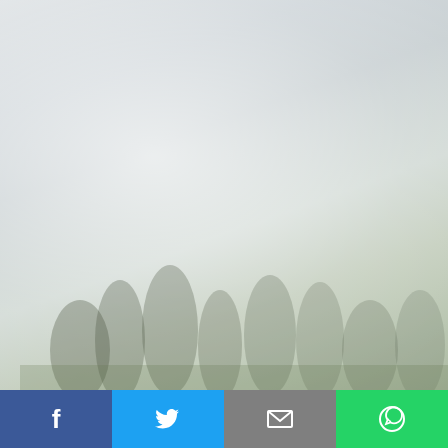[Figure (photo): Misty landscape photo with fog and tree silhouettes in the background, faded greenish-grey tones]
| Country | Region |
| --- | --- |
| Austria | Regional Central |
| Austria | Regional Central |
| Austria | Regional East |
| Austria | Regional East |
| Austria | Regional East |
| Algeria | Ligue... |